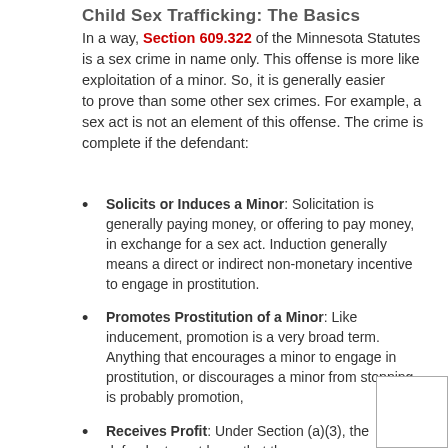Child Sex Trafficking: The Basics
In a way, Section 609.322 of the Minnesota Statutes is a sex crime in name only. This offense is more like exploitation of a minor. So, it is generally easier to prove than some other sex crimes. For example, a sex act is not an element of this offense. The crime is complete if the defendant:
Solicits or Induces a Minor: Solicitation is generally paying money, or offering to pay money, in exchange for a sex act. Induction generally means a direct or indirect non-monetary incentive to engage in prostitution.
Promotes Prostitution of a Minor: Like inducement, promotion is a very broad term. Anything that encourages a minor to engage in prostitution, or discourages a minor from stopping, is probably promotion,
Receives Profit: Under Section (a)(3), the defendant must know that the money came from child prostitution. Ramsey County prosecutors can introduce either direct evidence of actual knowledge or circumstantial